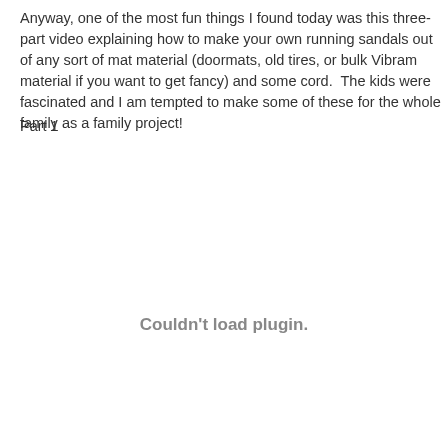Anyway, one of the most fun things I found today was this three-part video explaining how to make your own running sandals out of any sort of mat material (doormats, old tires, or bulk Vibram material if you want to get fancy) and some cord.  The kids were fascinated and I am tempted to make some of these for the whole family as a family project!
Part 1
[Figure (other): Embedded video plugin area showing 'Couldn't load plugin.' message]